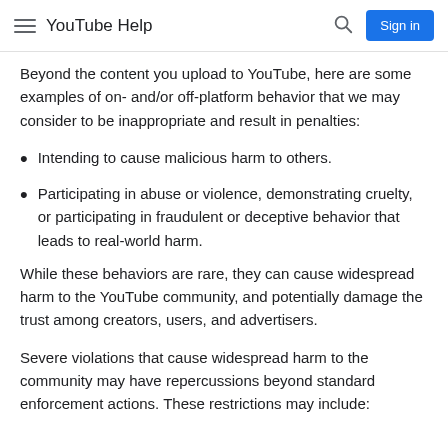YouTube Help
Beyond the content you upload to YouTube, here are some examples of on- and/or off-platform behavior that we may consider to be inappropriate and result in penalties:
Intending to cause malicious harm to others.
Participating in abuse or violence, demonstrating cruelty, or participating in fraudulent or deceptive behavior that leads to real-world harm.
While these behaviors are rare, they can cause widespread harm to the YouTube community, and potentially damage the trust among creators, users, and advertisers.
Severe violations that cause widespread harm to the community may have repercussions beyond standard enforcement actions. These restrictions may include: